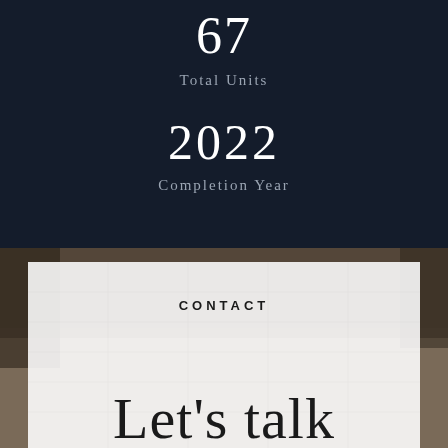67
Total Units
2022
Completion Year
[Figure (photo): Desk with notepad/calendar background photo for contact section]
CONTACT
Let's talk